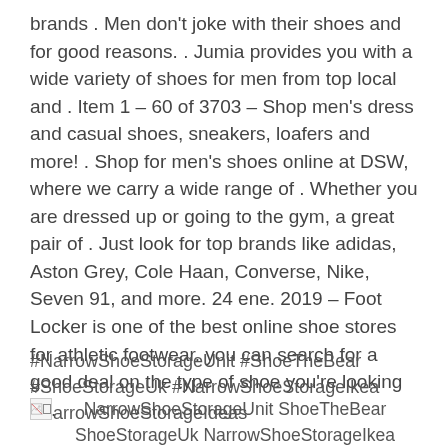brands . Men don't joke with their shoes and for good reasons. . Jumia provides you with a wide variety of shoes for men from top local and . Item 1 – 60 of 3703 – Shop men's dress and casual shoes, sneakers, loafers and more! . Shop for men's shoes online at DSW, where we carry a wide range of . Whether you are dressed up or going to the gym, a great pair of . Just look for top brands like adidas, Aston Grey, Cole Haan, Converse, Nike, Seven 91, and more. 24 ene. 2019 – Foot Locker is one of the best online shoe stores for athletic footwear. you can search for a good deal on the type of shoe you're looking for.
#NarrowShoeStorageUnit #ShoeTheBear #ShoeStorageUk #NarrowShoeStorageIkea #NarrowShoeStorageIdeas
[Figure (other): Broken image icon followed by caption text: NarrowShoeStorageUnit ShoeTheBear ShoeStorageUk NarrowShoeStorageIkea NarrowShoeStorageIdeas]